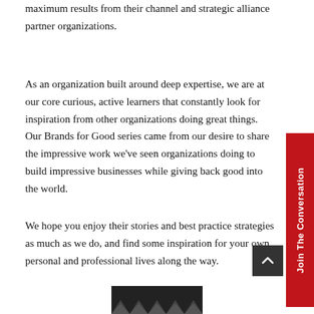maximum results from their channel and strategic alliance partner organizations.
As an organization built around deep expertise, we are at our core curious, active learners that constantly look for inspiration from other organizations doing great things. Our Brands for Good series came from our desire to share the impressive work we've seen organizations doing to build impressive businesses while giving back good into the world.
We hope you enjoy their stories and best practice strategies as much as we do, and find some inspiration for your own personal and professional lives along the way.
[Figure (other): Partial view of a zigzag or chevron pattern image at the bottom center of the page]